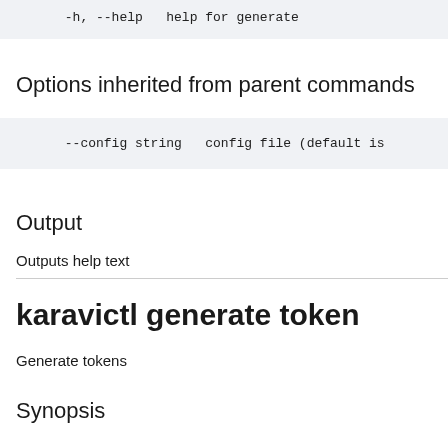-h, --help   help for generate
Options inherited from parent commands
--config string   config file (default is
Output
Outputs help text
karavictl generate token
Generate tokens
Synopsis